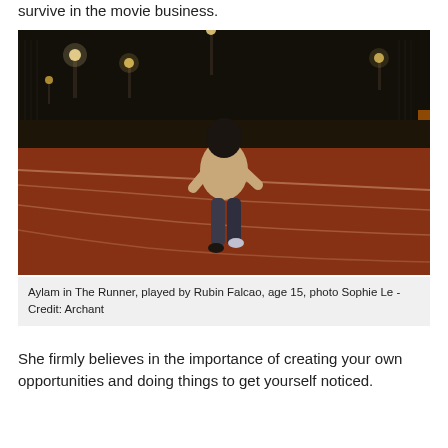survive in the movie business.
[Figure (photo): A person in a hoodie running away from the camera on a red athletic track at night, with floodlights and fencing visible in the background.]
Aylam in The Runner, played by Rubin Falcao, age 15, photo Sophie Le - Credit: Archant
She firmly believes in the importance of creating your own opportunities and doing things to get yourself noticed.